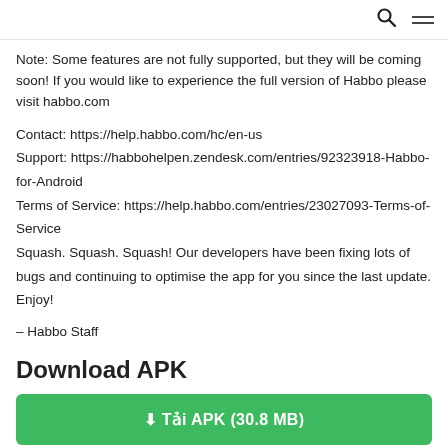[search icon] [menu icon]
Note: Some features are not fully supported, but they will be coming soon! If you would like to experience the full version of Habbo please visit habbo.com
Contact: https://help.habbo.com/hc/en-us
Support: https://habbohelpen.zendesk.com/entries/92323918-Habbo-for-Android
Terms of Service: https://help.habbo.com/entries/23027093-Terms-of-Service
Squash. Squash. Squash! Our developers have been fixing lots of bugs and continuing to optimise the app for you since the last update. Enjoy!
– Habbo Staff
Download APK
⬇ Tải APK (30.8 MB)